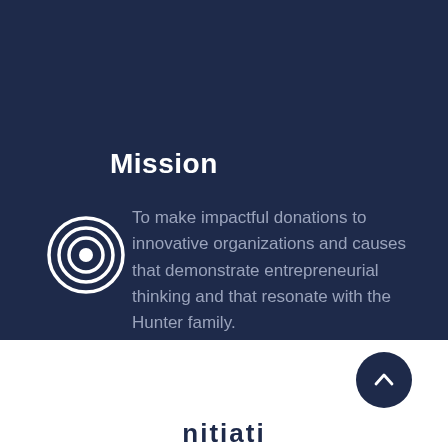Mission
[Figure (illustration): Concentric circles target/bullseye icon in white outline on dark navy background]
To make impactful donations to innovative organizations and causes that demonstrate entrepreneurial thinking and that resonate with the Hunter family.
[Figure (other): Dark navy circular scroll-up button with white chevron arrow pointing upward]
nitiati